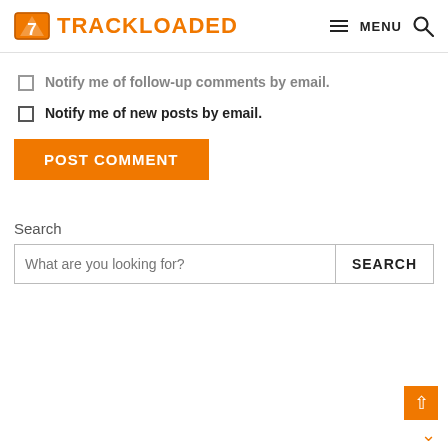TRACKLOADED — MENU
Notify me of follow-up comments by email.
Notify me of new posts by email.
POST COMMENT
Search
What are you looking for?  SEARCH